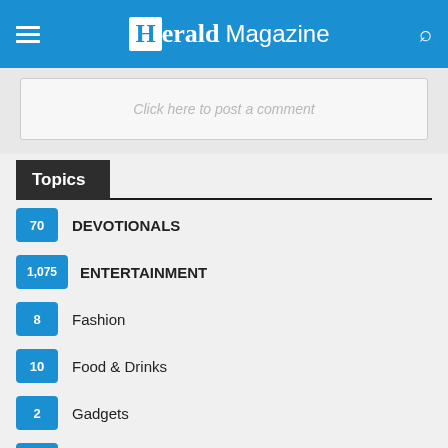Herald Magazine
Click here to post a comment
Topics
70  DEVOTIONALS
1,075  ENTERTAINMENT
8  Fashion
10  Food & Drinks
2  Gadgets
4  GHANA GOSPEL MUSIC
430  Gospel Music
House Gospel Music (partial)